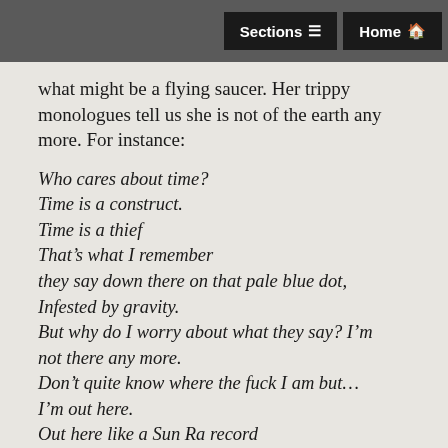Sections  Home
what might be a flying saucer. Her trippy monologues tell us she is not of the earth any more. For instance:
Who cares about time?
Time is a construct.
Time is a thief
That's what I remember
they say down there on that pale blue dot,
Infested by gravity.
But why do I worry about what they say? I'm not there any more.
Don't quite know where the fuck I am but…
I'm out here.
Out here like a Sun Ra record
Out here like a muffucka.
I am.
I be.
I am.